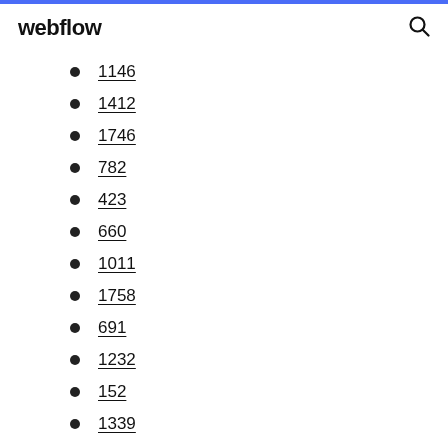webflow
1146
1412
1746
782
423
660
1011
1758
691
1232
152
1339
1099